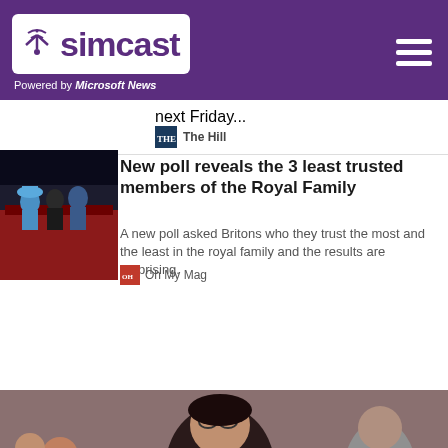simcast — Powered by Microsoft News
next Friday...
The Hill
New poll reveals the 3 least trusted members of the Royal Family
A new poll asked Britons who they trust the most and the least in the royal family and the results are surprising.
Oh My Mag
This website is using cookies.
We use them to give you the best experience. If you continue using our website, we will assume that you are happy to receive all cookies on this website.
[Figure (photo): Cookie banner overlay with Continue and Learn more buttons]
[Figure (photo): Crowd of people at a protest, woman in foreground with glasses and dark hair]